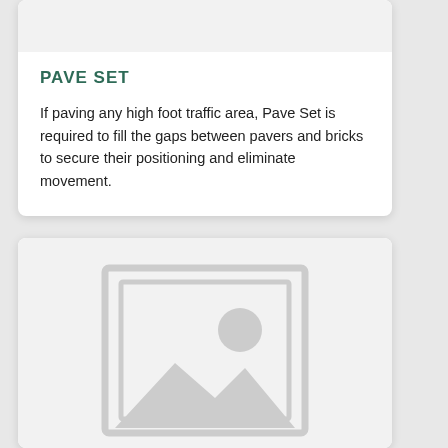PAVE SET
If paving any high foot traffic area, Pave Set is required to fill the gaps between pavers and bricks to secure their positioning and eliminate movement.
[Figure (photo): Placeholder image with image icon (landscape/photo placeholder graphic) inside a light grey card]